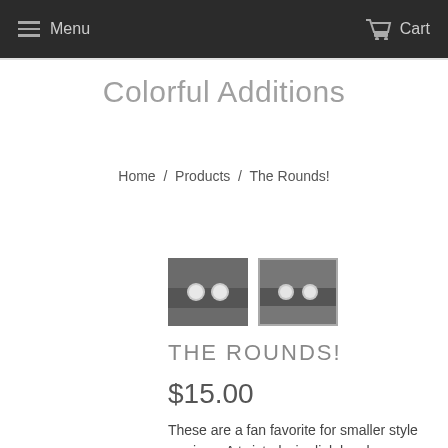Menu   Cart
Colorful Additions
Home / Products / The Rounds!
[Figure (photo): Two small thumbnail photos of stud earrings against a dark background, seen from similar angles]
THE ROUNDS!
$15.00
These are a fan favorite for smaller style earrings. A twisted wire link has been added to a